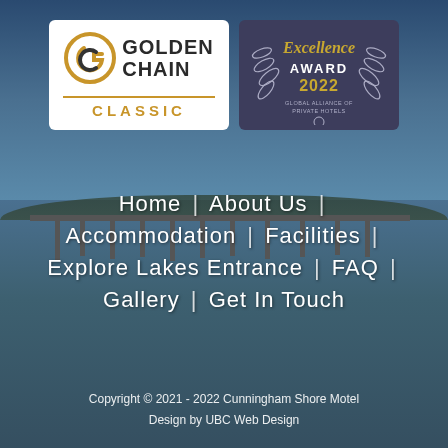[Figure (logo): Golden Chain Classic logo - white background with GC icon and gold CLASSIC text]
[Figure (logo): Excellence Award 2022 - Global Alliance of Private Hotels badge on dark purple background]
[Figure (photo): Background photo of a lake or coastal water scene with a pier/jetty and treeline, blue sky]
Home  |  About Us  |
Accommodation  |  Facilities  |
Explore Lakes Entrance  |  FAQ  |
Gallery  |  Get In Touch
Copyright © 2021 - 2022 Cunningham Shore Motel
Design by UBC Web Design